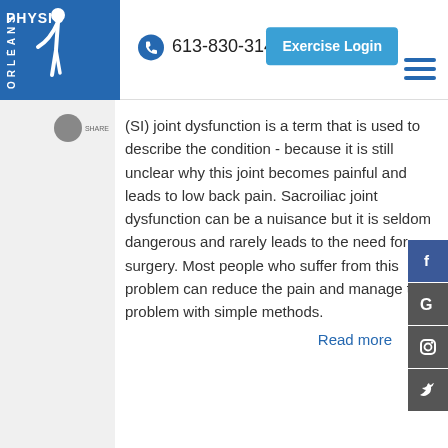[Figure (logo): Physio Orleans logo — blue square with white silhouette of person bending and text PHYSIO ORLEANS]
613-830-3145
Exercise Login
(SI) joint dysfunction is a term that is used to describe the condition - because it is still unclear why this joint becomes painful and leads to low back pain. Sacroiliac joint dysfunction can be a nuisance but it is seldom dangerous and rarely leads to the need for surgery. Most people who suffer from this problem can reduce the pain and manage the problem with simple methods.
Read more